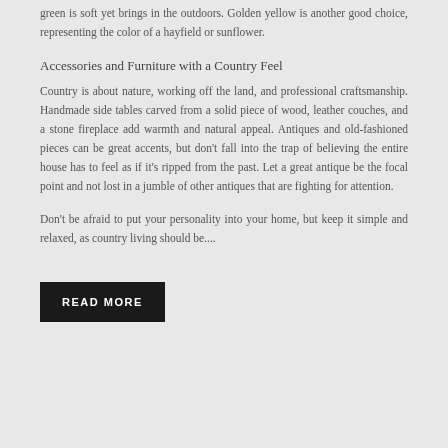green is soft yet brings in the outdoors. Golden yellow is another good choice, representing the color of a hayfield or sunflower.
Accessories and Furniture with a Country Feel
Country is about nature, working off the land, and professional craftsmanship. Handmade side tables carved from a solid piece of wood, leather couches, and a stone fireplace add warmth and natural appeal. Antiques and old-fashioned pieces can be great accents, but don't fall into the trap of believing the entire house has to feel as if it's ripped from the past. Let a great antique be the focal point and not lost in a jumble of other antiques that are fighting for attention.
Don't be afraid to put your personality into your home, but keep it simple and relaxed, as country living should be....
READ MORE